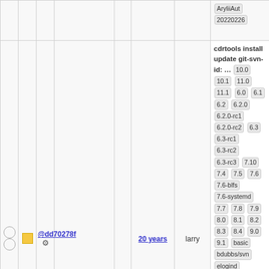|  |  |  | Commit |  | Age | Author | Description/Tags |
| --- | --- | --- | --- | --- | --- | --- | --- |
|  |  |  |  |  |  |  | AryliiAut 20220226 |
| ○ ○ | ■ | @dd70278f ⚙ |  | 20 years | larry | cdrtools install update git-svn-id: … 10.0 10.1 11.0 11.1 6.0 6.1 6.2 6.2.0 6.2.0-rc1 6.2.0-rc2 6.3 6.3-rc1 6.3-rc2 6.3-rc3 7.10 7.4 7.5 7.6 7.6-blfs 7.6-systemd 7.7 7.8 7.9 8.0 8.1 8.2 8.3 8.4 9.0 9.1 basic bdubbs/svn elogind gnome kde5-13430 kde5-14269 kde5-14686 krejzi/svn lazarus nosym perl-modules qt5new systemd 11177 systemd-13485 trunk upgradedb v1 |